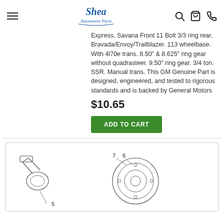Shea Automotive Parts — navigation header with logo, search, cart, and phone icons
Express, Savana Front 11 Bolt 3/3 ring rear. Bravada/Envoy/Trailblazer. 113 wheelbase. With 4l70e trans. 8.50" & 8.625" ring gear without quadrasteer. 9.50" ring gear. 3/4 ton. SSR. Manual trans. This GM Genuine Part is designed, engineered, and tested to rigorous standards and is backed by General Motors
$10.65
ADD TO CART
[Figure (engineering-diagram): Technical parts diagram showing numbered automotive components (items 5, 6, 7 visible), including what appears to be wheel bearing or hub assembly parts with callout numbers.]